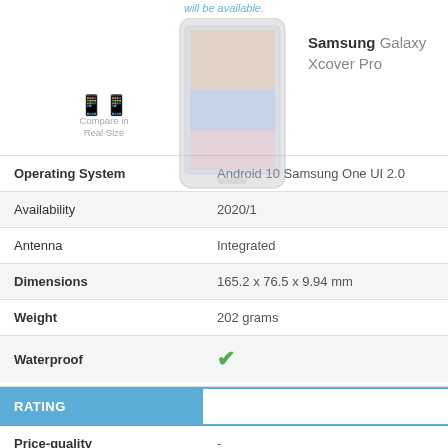will be available.
Samsung Galaxy Xcover Pro
[Figure (photo): Samsung Galaxy Xcover Pro smartphone image overlapping the spec table]
| Spec | Value |
| --- | --- |
| Operating System | Android 10 Samsung One UI 2.0 |
| Availability | 2020/1 |
| Antenna | Integrated |
| Dimensions | 165.2 x 76.5 x 9.94 mm |
| Weight | 202 grams |
| Waterproof | ✓ |
| RATING |  |
| Price-quality | - |
| Hardware | 0 / 10 |
Compare in Real Size